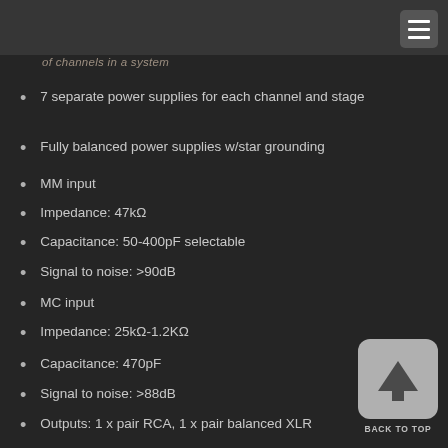of channels in a system
7 separate power supplies for each channel and stage
Fully balanced power supplies w/star grounding
MM input
Impedance: 47kΩ
Capacitance: 50-400pF selectable
Signal to noise: >90dB
MC input
Impedance: 25kΩ-1.2KΩ
Capacitance: 470pF
Signal to noise: >88dB
Outputs: 1 x pair RCA, 1 x pair balanced XLR
[Figure (other): Back to top button with upward arrow icon and label BACK TO TOP]